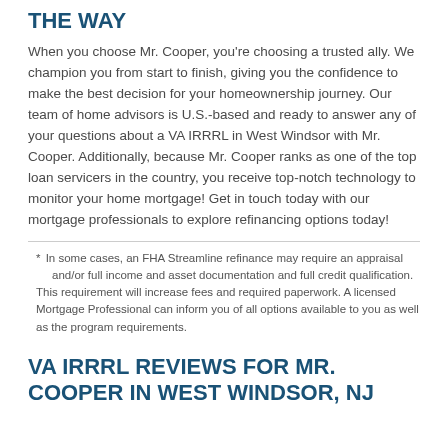THE WAY
When you choose Mr. Cooper, you're choosing a trusted ally. We champion you from start to finish, giving you the confidence to make the best decision for your homeownership journey. Our team of home advisors is U.S.-based and ready to answer any of your questions about a VA IRRRL in West Windsor with Mr. Cooper. Additionally, because Mr. Cooper ranks as one of the top loan servicers in the country, you receive top-notch technology to monitor your home mortgage! Get in touch today with our mortgage professionals to explore refinancing options today!
* In some cases, an FHA Streamline refinance may require an appraisal and/or full income and asset documentation and full credit qualification. This requirement will increase fees and required paperwork. A licensed Mortgage Professional can inform you of all options available to you as well as the program requirements.
VA IRRRL REVIEWS FOR MR. COOPER IN WEST WINDSOR, NJ